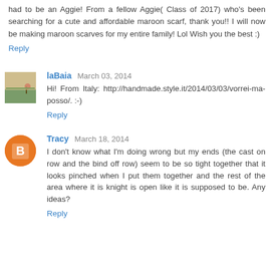had to be an Aggie! From a fellow Aggie( Class of 2017) who's been searching for a cute and affordable maroon scarf, thank you!! I will now be making maroon scarves for my entire family! Lol Wish you the best :)
Reply
laBaia  March 03, 2014
Hi! From Italy: http://handmade.style.it/2014/03/03/vorrei-ma-posso/. :-)
Reply
Tracy  March 18, 2014
I don't know what I'm doing wrong but my ends (the cast on row and the bind off row) seem to be so tight together that it looks pinched when I put them together and the rest of the area where it is knight is open like it is supposed to be. Any ideas?
Reply